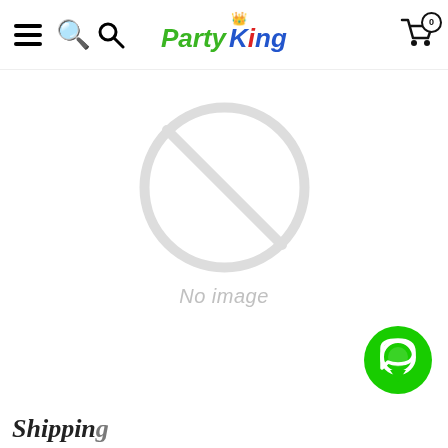Party King navigation header with hamburger menu, search icon, Party King logo, and cart icon with 0 items
[Figure (illustration): No image placeholder: a circle with a diagonal line through it (prohibited symbol) in light gray, with italic gray text 'No image' below]
[Figure (illustration): Green circular chat bubble button in bottom right corner]
Shipping